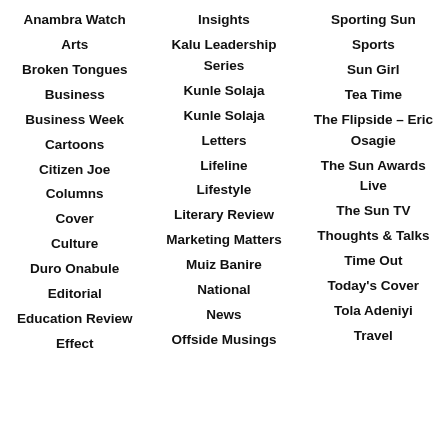Anambra Watch
Arts
Broken Tongues
Business
Business Week
Cartoons
Citizen Joe
Columns
Cover
Culture
Duro Onabule
Editorial
Education Review
Effect
Insights
Kalu Leadership Series
Kunle Solaja
Kunle Solaja
Letters
Lifeline
Lifestyle
Literary Review
Marketing Matters
Muiz Banire
National
News
Offside Musings
Sporting Sun
Sports
Sun Girl
Tea Time
The Flipside – Eric Osagie
The Sun Awards Live
The Sun TV
Thoughts & Talks
Time Out
Today's Cover
Tola Adeniyi
Travel